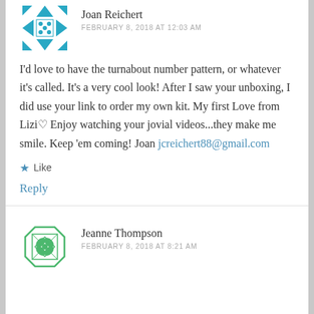Joan Reichert
FEBRUARY 8, 2018 AT 12:03 AM
I'd love to have the turnabout number pattern, or whatever it's called. It's a very cool look! After I saw your unboxing, I did use your link to order my own kit. My first Love from Lizi♡ Enjoy watching your jovial videos...they make me smile. Keep 'em coming! Joan jcreichert88@gmail.com
Like
Reply
Jeanne Thompson
FEBRUARY 8, 2018 AT 8:21 AM